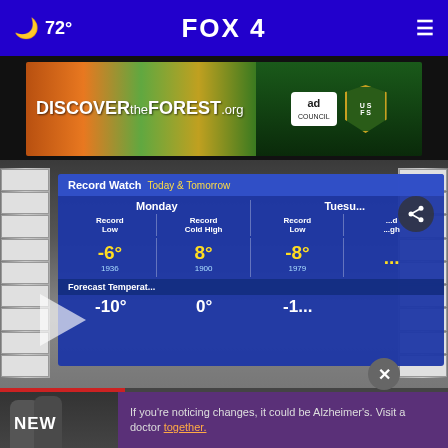🌙 72° FOX 4
[Figure (screenshot): DiscovertheForest.org advertisement banner with forest imagery, Ad Council logo, and US Forest Service shield badge]
[Figure (screenshot): FOX 4 weather broadcast screenshot showing Record Watch Today & Tomorrow with Monday and Tuesday temperature records. Monday: Record Low -6° (1936), Record Cold High 8° (1900). Tuesday: Record Low -8° (1979). Forecast Temperatures: -10°, 0°, -15°. Female meteorologist in pink dress standing in front of weather display.]
[Figure (screenshot): Bottom advertisement: Alzheimer's awareness ad with two people. Text: If you're noticing changes, it could be Alzheimer's. Visit a doctor together.]
NEW